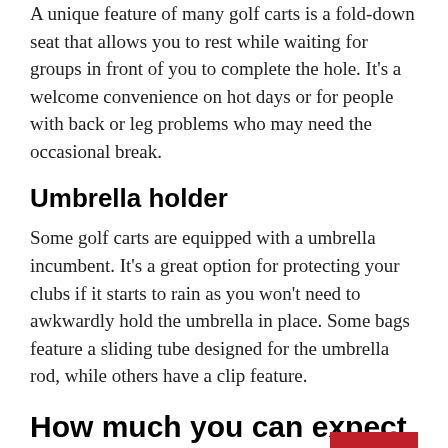A unique feature of many golf carts is a fold-down seat that allows you to rest while waiting for groups in front of you to complete the hole. It's a welcome convenience on hot days or for people with back or leg problems who may need the occasional break.
Umbrella holder
Some golf carts are equipped with a umbrella incumbent. It's a great option for protecting your clubs if it starts to rain as you won't need to awkwardly hold the umbrella in place. Some bags feature a sliding tube designed for the umbrella rod, while others have a clip feature.
How much you can expect to spend on a golf cart